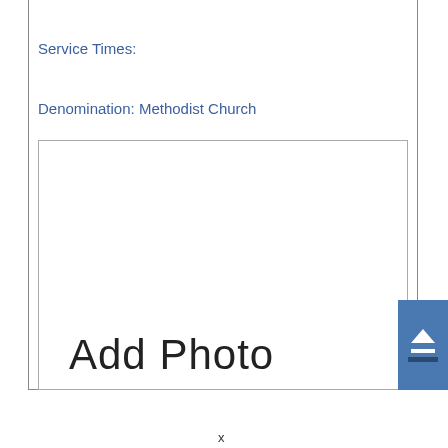Service Times:
Denomination: Methodist Church
[Figure (other): Empty photo placeholder box with 'Add Photo' text and an upload button icon in the bottom right corner]
x